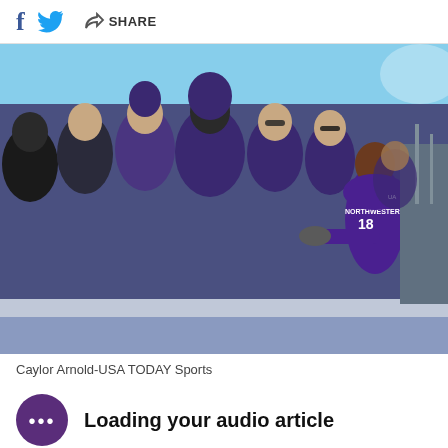f  [twitter bird]  [share icon]  SHARE
[Figure (photo): Northwestern football player wearing jersey number 18 high-fiving a line of fans in purple Northwestern apparel along a stadium wall on a sunny day]
Caylor Arnold-USA TODAY Sports
Loading your audio article